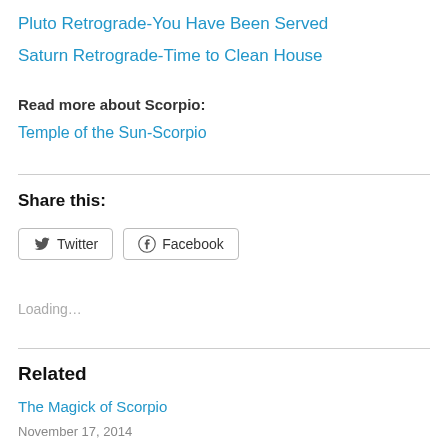Pluto Retrograde-You Have Been Served
Saturn Retrograde-Time to Clean House
Read more about Scorpio:
Temple of the Sun-Scorpio
Share this:
[Figure (other): Twitter and Facebook share buttons]
Loading...
Related
The Magick of Scorpio
November 17, 2014